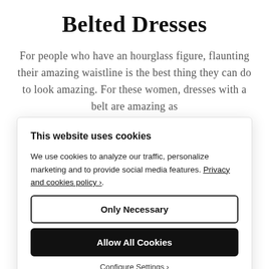Belted Dresses
For people who have an hourglass figure, flaunting their amazing waistline is the best thing they can do to look amazing. For these women, dresses with a belt are amazing as...
This website uses cookies
We use cookies to analyze our traffic, personalize marketing and to provide social media features. Privacy and cookies policy›.
Only Necessary
Allow All Cookies
Configure Settings ›
favorite type of dress as it provides them with the highest level of comfort while also